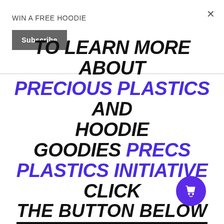WIN A FREE HOODIE
Subscribe
TO LEARN MORE ABOUT PRECIOUS PLASTICS AND HOODIE GOODIES PRECIOUS PLASTICS INITIATIVE CLICK THE BUTTON BELOW